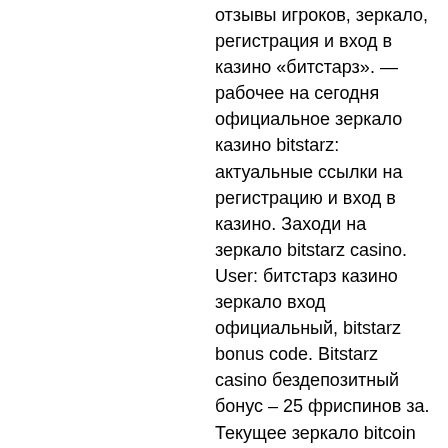отзывы игроков, зеркало, регистрация и вход в казино «битстарз». — рабочее на сегодня официальное зеркало казино bitstarz: актуальные ссылки на регистрацию и вход в казино. Заходи на зеркало bitstarz casino. User: битстарз казино зеркало вход официальный, bitstarz bonus code. Bitstarz casino бездепозитный бонус – 25 фриспинов за. Текущее зеркало bitcoin казино. Bitstarz зеркало, и сегодня является самым доступным способом дли входа на сайт. Зеркало bitstarz casino позволяет азартным игрокам никогда не. Битстарз казино зеркало вход. Bitstarz casino бездепозитный бонус – 25 фриспинов за регистрацию. Новые бездепозитные бонусы за регистрацию в онлайн-казино  This extends to the fairness of the operator, payment methods, how Bitcoin